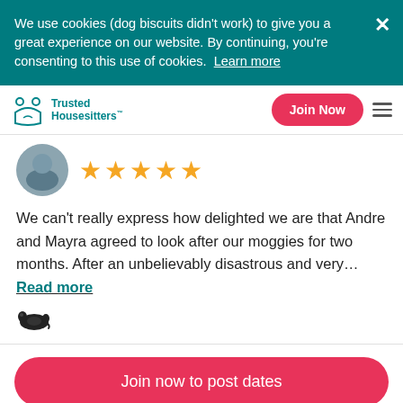We use cookies (dog biscuits didn't work) to give you a great experience on our website. By continuing, you're consenting to this use of cookies. Learn more
[Figure (logo): Trusted Housesitters logo with house and pets icon]
[Figure (photo): Circular avatar showing a person outdoors]
[Figure (infographic): Five gold/yellow star rating]
We can't really express how delighted we are that Andre and Mayra agreed to look after our moggies for two months. After an unbelievably disastrous and very… Read more
[Figure (illustration): Small black cat/hedgehog icon]
Join now to post dates